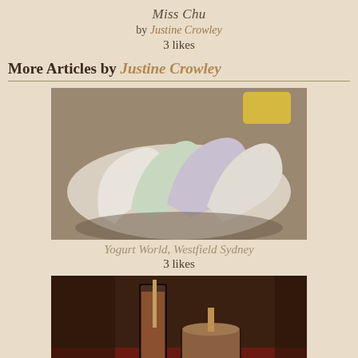Miss Chu
by Justine Crowley
3 likes
More Articles by Justine Crowley
[Figure (photo): Close-up photo of soft-serve ice cream swirls in white, light purple/lavender, and other pastel colors in a container]
Yogurt World, Westfield Sydney
3 likes
[Figure (photo): Photo of drinks on a dark surface - a tall glass and a shorter glass/cup with a drink, on what appears to be a red cloth surface]